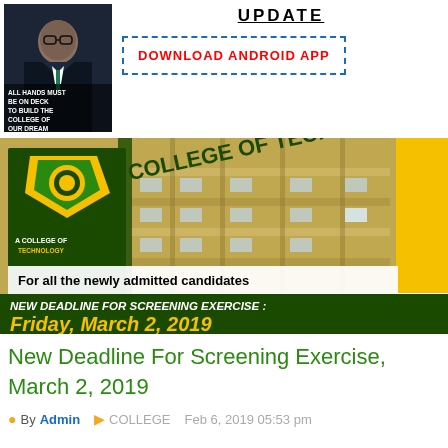[Figure (photo): Photo of a person in a suit with text overlay 'ALL HANDS MUST BE ON DECK TO BUILD THE COLLEGE OF OUR DREAM']
UPDATE
DOWNLOAD ANDROID APP
[Figure (photo): College of Technology building with logo, text overlay 'For all the newly admitted candidates', dark green banner 'NEW DEADLINE FOR SCREENING EXERCISE: Friday, March 2, 2019', yellow sidebar]
New Deadline For Screening Exercise, March 2, 2019
By Admin   COLLEGE   Feb 6, 2019 05:53 pm